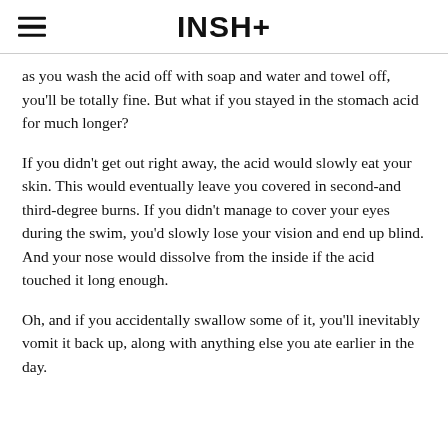INSH+
as you wash the acid off with soap and water and towel off, you'll be totally fine. But what if you stayed in the stomach acid for much longer?
If you didn't get out right away, the acid would slowly eat your skin. This would eventually leave you covered in second-and third-degree burns. If you didn't manage to cover your eyes during the swim, you'd slowly lose your vision and end up blind. And your nose would dissolve from the inside if the acid touched it long enough.
Oh, and if you accidentally swallow some of it, you'll inevitably vomit it back up, along with anything else you ate earlier in the day.